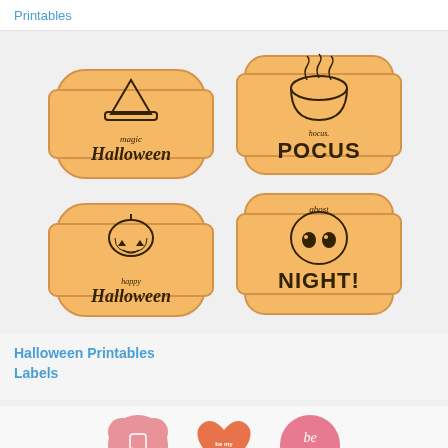Printables
[Figure (illustration): Four Halloween-themed label stickers on orange/tan background shapes. Top-left: witch hat above text 'Halloween'. Top-right: cauldron with smoke above 'hocus' text and large 'POCUS'. Bottom-left: pumpkin above 'happy Halloween'. Bottom-right: ghost skull above 'ghost' and large 'NIGHT!']
Halloween Printables Labels
[Figure (illustration): Bottom partial preview showing three Valentine's Day themed stickers/printables in pink and orange colors.]